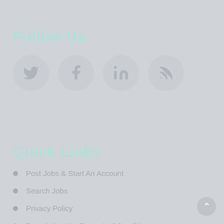Follow Us
[Figure (illustration): Four social media icon circles: Twitter bird, Facebook f, LinkedIn in, RSS feed icon]
Quick Links
Post Jobs & Start An Account
Search Jobs
Privacy Policy
Foundation List Terms And Conditions